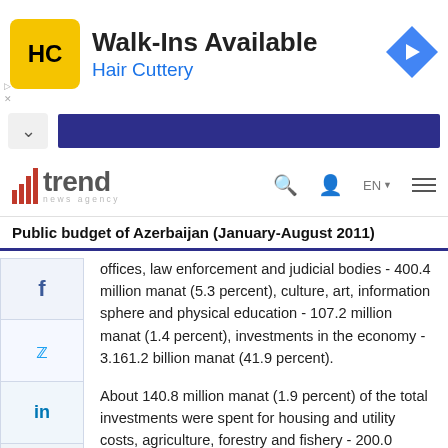[Figure (other): Advertisement banner for Hair Cuttery salon with HC logo in yellow square and blue navigation arrow icon. Text reads 'Walk-Ins Available' and 'Hair Cuttery'.]
[Figure (other): Navigation bar with chevron up button and dark blue bar (website navigation element)]
[Figure (logo): Trend News Agency logo with red bar chart icon and word 'trend' with 'news agency' tagline, plus search, user, language EN, and hamburger menu icons]
Public budget of Azerbaijan (January-August 2011)
offices, law enforcement and judicial bodies - 400.4 million manat (5.3 percent), culture, art, information sphere and physical education - 107.2 million manat (1.4 percent), investments in the economy - 3.161.2 billion manat (41.9 percent).
About 140.8 million manat (1.9 percent) of the total investments were spent for housing and utility costs, agriculture, forestry and fishery - 200.0 million manat (2.7 percent)